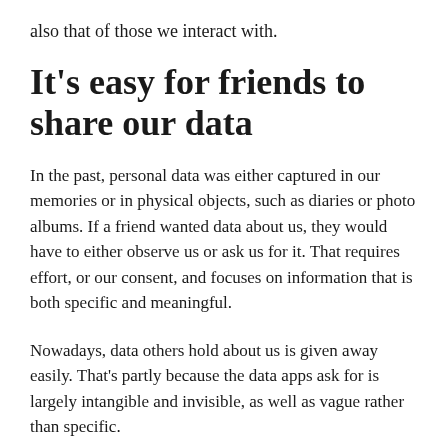also that of those we interact with.
It's easy for friends to share our data
In the past, personal data was either captured in our memories or in physical objects, such as diaries or photo albums. If a friend wanted data about us, they would have to either observe us or ask us for it. That requires effort, or our consent, and focuses on information that is both specific and meaningful.
Nowadays, data others hold about us is given away easily. That's partly because the data apps ask for is largely intangible and invisible, as well as vague rather than specific.